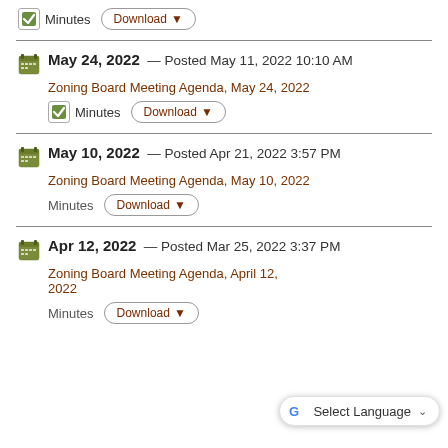Minutes  Download ▼
May 24, 2022 — Posted May 11, 2022 10:10 AM
Zoning Board Meeting Agenda, May 24, 2022
Minutes  Download ▼
May 10, 2022 — Posted Apr 21, 2022 3:57 PM
Zoning Board Meeting Agenda, May 10, 2022
Minutes  Download ▼
Apr 12, 2022 — Posted Mar 25, 2022 3:37 PM
Zoning Board Meeting Agenda, April 12, 2022
Minutes  Download ▼